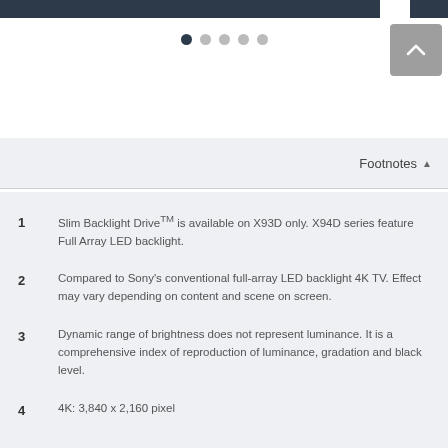[Figure (other): Dark navigation bar at the top of the page]
[Figure (other): Carousel pagination dots (5 dots, first active) and an up/chevron button in grey]
Footnotes
1   Slim Backlight DriveTM is available on X93D only. X94D series feature Full Array LED backlight.
2   Compared to Sony's conventional full-array LED backlight 4K TV. Effect may vary depending on content and scene on screen.
3   Dynamic range of brightness does not represent luminance. It is a comprehensive index of reproduction of luminance, gradation and black level.
4   4K: 3,840 x 2,160 pixel